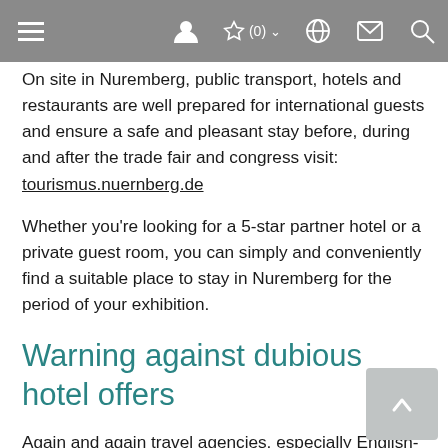[Navigation bar with hamburger menu, user icon, favorites (0), language, mail, and search icons]
On site in Nuremberg, public transport, hotels and restaurants are well prepared for international guests and ensure a safe and pleasant stay before, during and after the trade fair and congress visit: tourismus.nuernberg.de
Whether you're looking for a 5-star partner hotel or a private guest room, you can simply and conveniently find a suitable place to stay in Nuremberg for the period of your exhibition.
Warning against dubious hotel offers
Again and again travel agencies, especially English-